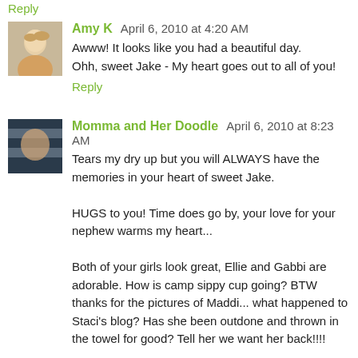Reply
Amy K  April 6, 2010 at 4:20 AM
Awww! It looks like you had a beautiful day.
Ohh, sweet Jake - My heart goes out to all of you!
Reply
Momma and Her Doodle  April 6, 2010 at 8:23 AM
Tears my dry up but you will ALWAYS have the memories in your heart of sweet Jake.

HUGS to you! Time does go by, your love for your nephew warms my heart...

Both of your girls look great, Ellie and Gabbi are adorable. How is camp sippy cup going? BTW thanks for the pictures of Maddi... what happened to Staci's blog? Has she been outdone and thrown in the towel for good? Tell her we want her back!!!!